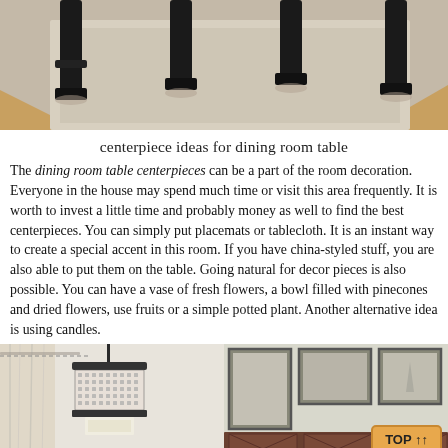[Figure (photo): Photo of black dining chair legs on a light beige/gray area rug over hardwood floor, viewed from above/side angle]
centerpiece ideas for dining room table
The dining room table centerpieces can be a part of the room decoration. Everyone in the house may spend much time or visit this area frequently. It is worth to invest a little time and probably money as well to find the best centerpieces. You can simply put placemats or tablecloth. It is an instant way to create a special accent in this room. If you have china-styled stuff, you are also able to put them on the table. Going natural for decor pieces is also possible. You can have a vase of fresh flowers, a bowl filled with pinecones and dried flowers, use fruits or a simple potted plant. Another alternative idea is using candles.
[Figure (photo): Two side-by-side room interior photos: left shows a decorative drum pendant light fixture with patterned shade hanging near sheer curtains; right shows framed wall art pictures above a dark wood cabinet/sideboard]
TOP ↑↑